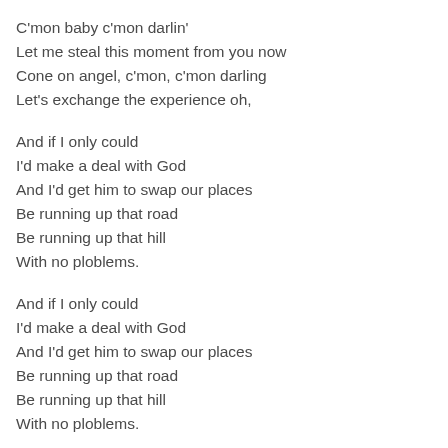C'mon baby c'mon darlin'
Let me steal this moment from you now
Cone on angel, c'mon, c'mon darling
Let's exchange the experience oh,
And if I only could
I'd make a deal with God
And I'd get him to swap our places
Be running up that road
Be running up that hill
With no ploblems.
And if I only could
I'd make a deal with God
And I'd get him to swap our places
Be running up that road
Be running up that hill
With no ploblems.
And if I only could
I'd make a deal with God
And I'd get him to swap our places
Be running up that road